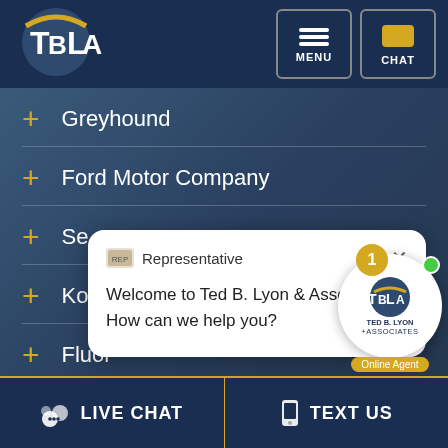[Figure (logo): TBLA logo - Ted B. Lyon & Associates circular logo with TB and LA letters]
[Figure (screenshot): Navigation buttons: MENU (hamburger icon) and CHAT (speech bubble icon)]
+ Greyhound
+ Ford Motor Company
+ Se[arch/ttlement?] (partially hidden by popup)
+ Koch Brothers
+ Fluor
[Figure (screenshot): Chat popup overlay from website: Representative icon with text: Welcome to Ted B. Lyon & Associates! How can we help you? with X close button]
[Figure (logo): Ted B. Lyon & Associates circular chat widget with notification badge '1' and Online Agent label]
LIVE CHAT
TEXT US